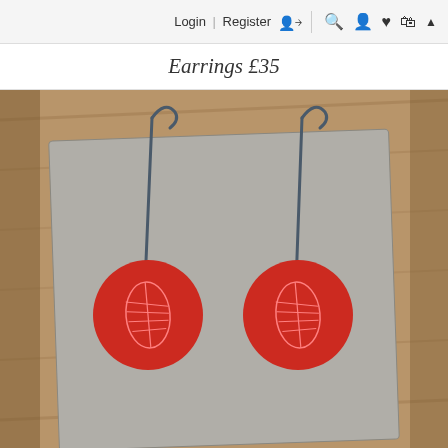Login | Register 🧑 🔍 👤 ♥ 🛍 ▲
Earrings £35
[Figure (photo): Product photo of two red circular drop earrings with a white leaf/shell line pattern etched on them, on silver hook wires. Earrings are displayed on a grey card backing placed on a wooden surface.]